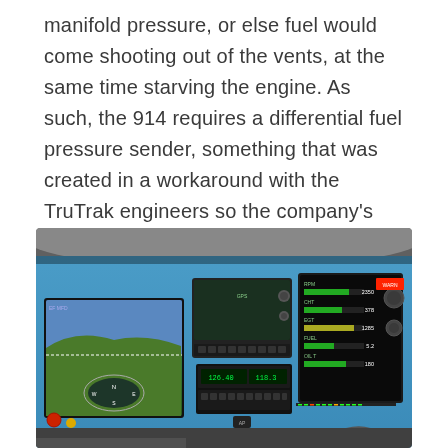manifold pressure, or else fuel would come shooting out of the vents, at the same time starving the engine. As such, the 914 requires a differential fuel pressure sender, something that was created in a workaround with the TruTrak engineers so the company's EFIS and engine monitor would function properly. “They [TruTrak] were really great about all the small modifications we needed,” says Happ.
[Figure (photo): Photograph of an aircraft cockpit instrument panel with a blue fascia, featuring multiple digital displays including an EFIS/GPS screen on the left showing a terrain map, a GPS navigation unit in the center, and an engine monitor on the right, along with various avionics components and controls.]